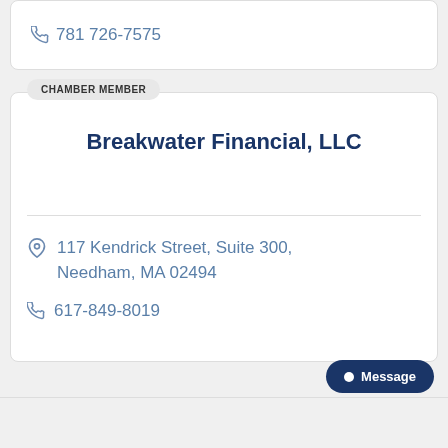781 726-7575
CHAMBER MEMBER
Breakwater Financial, LLC
117 Kendrick Street, Suite 300, Needham, MA 02494
617-849-8019